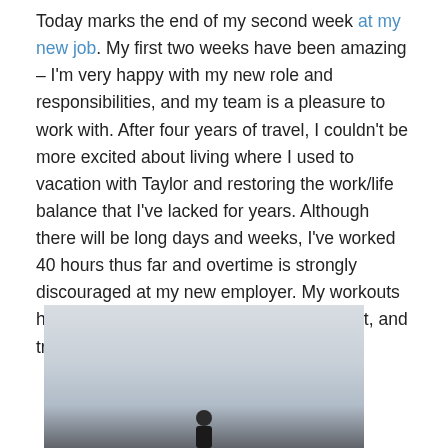Today marks the end of my second week at my new job. My first two weeks have been amazing – I'm very happy with my new role and responsibilities, and my team is a pleasure to work with. After four years of travel, I couldn't be more excited about living where I used to vacation with Taylor and restoring the work/life balance that I've lacked for years. Although there will be long days and weeks, I've worked 40 hours thus far and overtime is strongly discouraged at my new employer. My workouts have flourished as a result: I can sleep, eat, and train on a schedule again.
[Figure (photo): A photo with a light grey/overcast sky background and a dark figure visible at the bottom center of the image.]